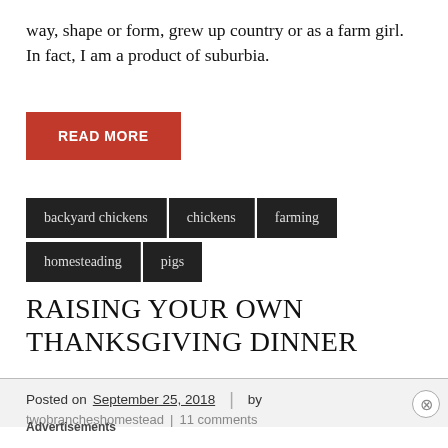way, shape or form, grew up country or as a farm girl. In fact, I am a product of suburbia.
READ MORE
backyard chickens
chickens
farming
homesteading
pigs
RAISING YOUR OWN THANKSGIVING DINNER
Posted on September 25, 2018  |  by
twobrancheshomestead  |  11 comments
Advertisements